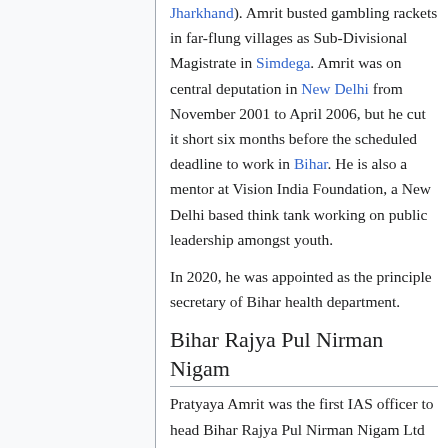Jharkhand). Amrit busted gambling rackets in far-flung villages as Sub-Divisional Magistrate in Simdega. Amrit was on central deputation in New Delhi from November 2001 to April 2006, but he cut it short six months before the scheduled deadline to work in Bihar. He is also a mentor at Vision India Foundation, a New Delhi based think tank working on public leadership amongst youth.
In 2020, he was appointed as the principle secretary of Bihar health department.
Bihar Rajya Pul Nirman Nigam
Pratyaya Amrit was the first IAS officer to head Bihar Rajya Pul Nirman Nigam Ltd